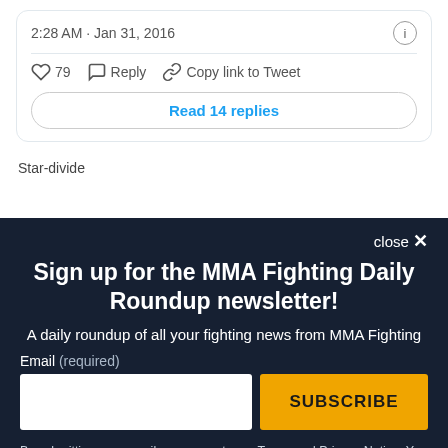2:28 AM · Jan 31, 2016
♡ 79   Reply   Copy link to Tweet
Read 14 replies
[Figure (screenshot): Star-divide image placeholder showing broken image icon with 'Star-divide' alt text]
close ×
Sign up for the MMA Fighting Daily Roundup newsletter!
A daily roundup of all your fighting news from MMA Fighting
Email (required)
SUBSCRIBE
By submitting your email, you agree to our Terms and Privacy Notice. You can opt out at any time. This site is protected by reCAPTCHA and the Google Privacy Policy and Terms of Service apply.